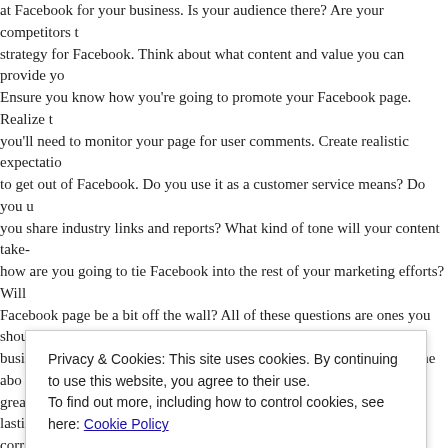at Facebook for your business. Is your audience there? Are your competitors there? Develop a strategy for Facebook. Think about what content and value you can provide your audience. Ensure you know how you're going to promote your Facebook page. Realize that you'll need to monitor your page for user comments. Create realistic expectations of what you want to get out of Facebook. Do you use it as a customer service means? Do you use it to share industry links and reports? What kind of tone will your content take- how are you going to tie Facebook into the rest of your marketing efforts? Will your Facebook page be a bit off the wall? All of these questions are ones you should ask your business before you enter the realm of Facebook. As we've seen with the above examples, it's a great means to start conversations with your consumers and form long-lasting relationships if done correctly.
I highly recommend businesses look at this strategy as we continue into one of the busiest times of year. You may see a huge payoff by making Facebook a part of your holiday marketing plans.
-Bryan Nagy
See the original report, as well as other important digital news, here
Privacy & Cookies: This site uses cookies. By continuing to use this website, you agree to their use. To find out more, including how to control cookies, see here: Cookie Policy